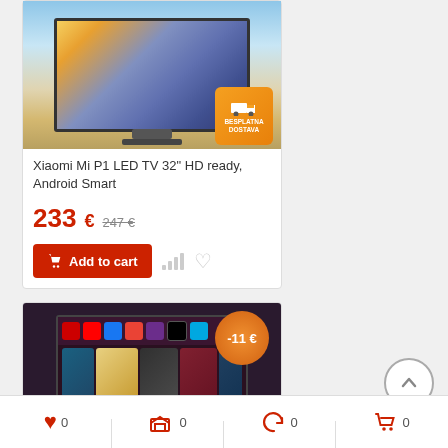[Figure (photo): Xiaomi Mi P1 LED TV product image with orange delivery badge (BESPLATNA DOSTAVA)]
Xiaomi Mi P1 LED TV 32" HD ready, Android Smart
233 € 247 €
Add to cart
[Figure (screenshot): Android Smart TV UI screenshot showing apps bar and content thumbnails, with orange -11 € discount badge]
0
0
0
0